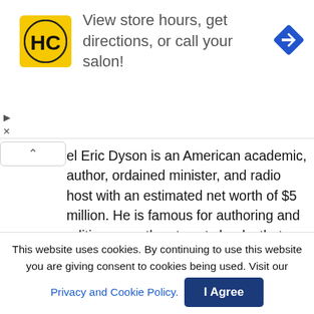[Figure (advertisement): HC salon advertisement banner with yellow HC logo, text 'View store hours, get directions, or call your salon!', and blue navigation diamond icon]
el Eric Dyson is an American academic, author, ordained minister, and radio host with an estimated net worth of $5 million. He is famous for authoring and editing more than twenty books that deal with different subjects and high profile personalities.
Jason Nash Net Worth, Salary, and Earnings 2022
David Bakhtiari Net Worth, Salary, and Earnings 2022
Jim Gaffigan Net Worth, Salary, and Earnings 2022
This website uses cookies. By continuing to use this website you are giving consent to cookies being used. Visit our Privacy and Cookie Policy.